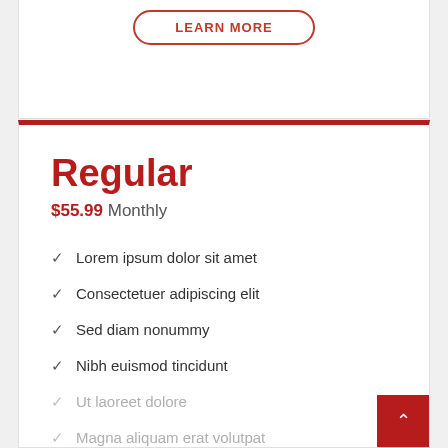LEARN MORE
Regular
$55.99 Monthly
Lorem ipsum dolor sit amet
Consectetuer adipiscing elit
Sed diam nonummy
Nibh euismod tincidunt
Ut laoreet dolore
Magna aliquam erat volutpat